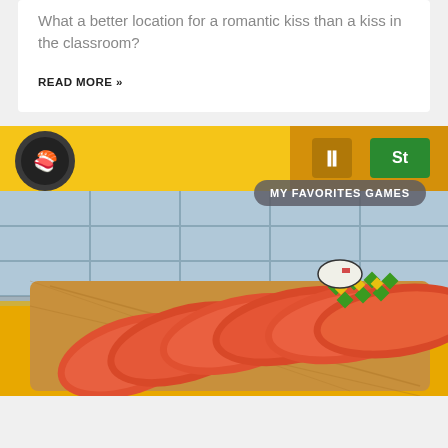What a better location for a romantic kiss than a kiss in the classroom?
READ MORE »
[Figure (screenshot): A cooking game screenshot showing sliced salmon sushi on a wooden cutting board, with a yellow kitchen background and a 'MY FAVORITES GAMES' badge overlay in the top right area.]